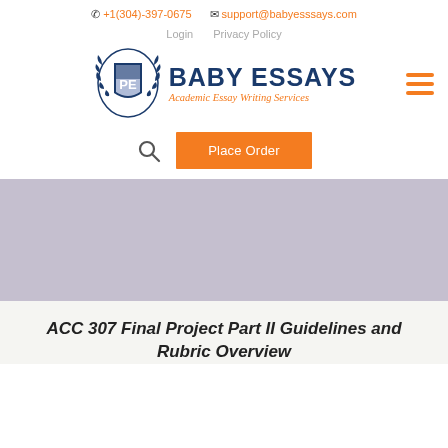+1(304)-397-0675   support@babyesssays.com
Login   Privacy Policy
[Figure (logo): Baby Essays logo with shield emblem containing 'PE', company name 'BABY ESSAYS' in navy blue bold, tagline 'Academic Essay Writing Services' in orange italic, hamburger menu icon top right]
Place Order
[Figure (illustration): Light purple/lavender hero banner area]
ACC 307 Final Project Part II Guidelines and Rubric Overview